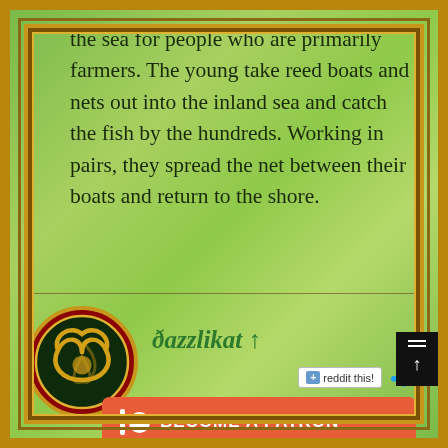the sea for people who are primarily farmers. The young take reed boats and nets out into the inland sea and catch the fish by the hundreds. Working in pairs, they spread the net between their boats and return to the shore.
[Figure (logo): Triquetra (Celtic trinity knot) symbol in gold outline on dark green circle with red/gold border ring]
ðazzlikat ↑
[Figure (other): Reddit share button labeled '+ reddit this!' and Twitter bird icon]
[Figure (other): Red Patreon button with logo and text: BECOME A PATRON]
[Figure (other): Ko-fi beige button with heart cup icon and text: Support Me on Ko-fi]